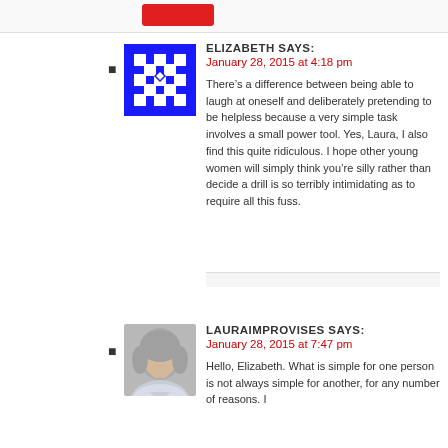[Figure (other): Red button in top bar area]
ELIZABETH SAYS:
January 28, 2015 at 4:18 pm
There’s a difference between being able to laugh at oneself and deliberately pretending to be helpless because a very simple task involves a small power tool. Yes, Laura, I also find this quite ridiculous. I hope other young women will simply think you’re silly rather than decide a drill is so terribly intimidating as to require all this fuss.
LAURAIMPROVISES SAYS:
January 28, 2015 at 7:47 pm
Hello, Elizabeth. What is simple for one person is not always simple for another, for any number of reasons. I...